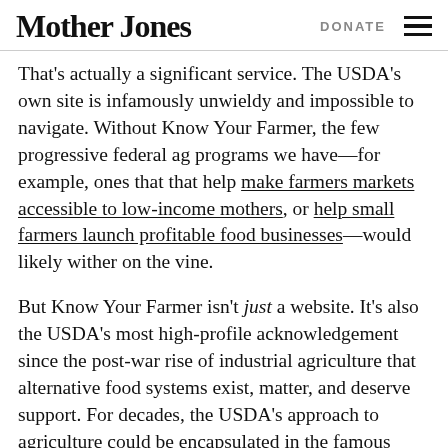Mother Jones  DONATE
That's actually a significant service. The USDA's own site is infamously unwieldy and impossible to navigate. Without Know Your Farmer, the few progressive federal ag programs we have—for example, ones that that help make farmers markets accessible to low-income mothers, or help small farmers launch profitable food businesses—would likely wither on the vine.
But Know Your Farmer isn't just a website. It's also the USDA's most high-profile acknowledgement since the post-war rise of industrial agriculture that alternative food systems exist, matter, and deserve support. For decades, the USDA's approach to agriculture could be encapsulated in the famous